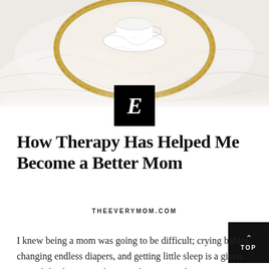[Figure (photo): Top-down photo of a white bed with a gold circular tray holding a white coffee cup and saucer, with white linen fabric.]
[Figure (logo): Black square logo with a white italic serif letter E in the center.]
How Therapy Has Helped Me Become a Better Mom
THEEVERYMOM.COM
TOP
I knew being a mom was going to be difficult; crying babies, changing endless diapers, and getting little sleep is a given. But I didn't know was how much my mental